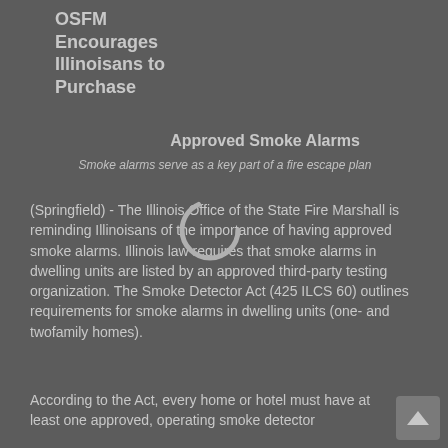OSFM Encourages Illinoisans to Purchase
Approved Smoke Alarms
Smoke alarms serve as a key part of a fire escape plan
(Springfield) - The Illinois Office of the State Fire Marshall is reminding Illinoisans of the importance of having approved smoke alarms. Illinois law requires that smoke alarms in dwelling units are listed by an approved third-party testing organization. The Smoke Detector Act (425 ILCS 60) outlines requirements for smoke alarms in dwelling units (one- and twofamily homes).
According to the Act, every home or hotel must have at least one approved, operating smoke detector